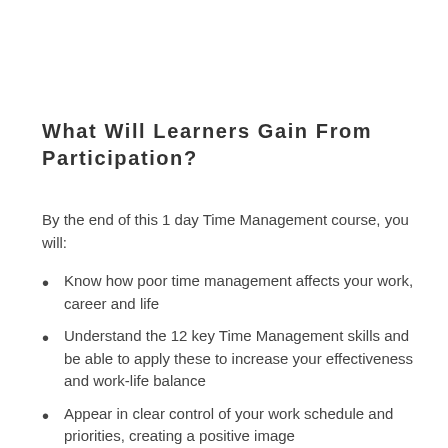What Will Learners Gain From Participation?
By the end of this 1 day Time Management course, you will:
Know how poor time management affects your work, career and life
Understand the 12 key Time Management skills and be able to apply these to increase your effectiveness and work-life balance
Appear in clear control of your work schedule and priorities, creating a positive image
Develop techniques to tactfully manage people who